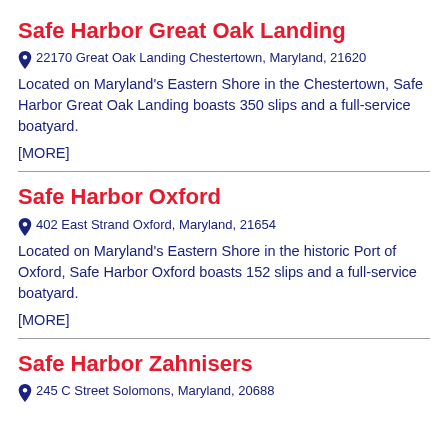Safe Harbor Great Oak Landing
22170 Great Oak Landing Chestertown, Maryland, 21620
Located on Maryland's Eastern Shore in the Chestertown, Safe Harbor Great Oak Landing boasts 350 slips and a full-service boatyard.
[MORE]
Safe Harbor Oxford
402 East Strand Oxford, Maryland, 21654
Located on Maryland's Eastern Shore in the historic Port of Oxford, Safe Harbor Oxford boasts 152 slips and a full-service boatyard.
[MORE]
Safe Harbor Zahnisers
245 C Street Solomons, Maryland, 20688